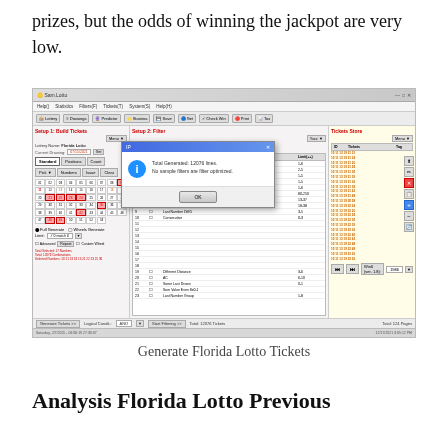prizes, but the odds of winning the jackpot are very low.
[Figure (screenshot): Screenshot of Sam.Lotto software showing Setup 1: Build Tickets panel with Florida Lotto selected, Setup 2: Filters panel with various filter conditions listed, and Tickets Store panel showing generated ticket numbers. A dialog box is displayed showing 'Total Generated: 12076 lines. No sample filters are filter optimized.']
Generate Florida Lotto Tickets
Analysis Florida Lotto Previous